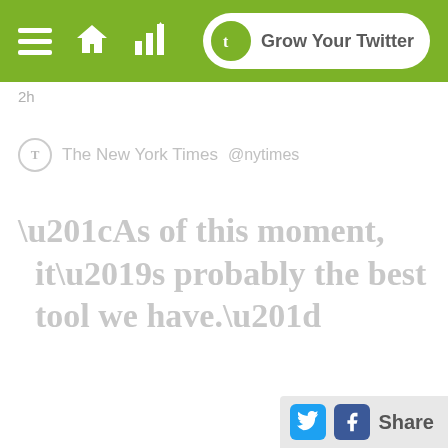[Figure (screenshot): Green navigation bar with hamburger menu, home icon, chart icon, and 'Grow Your Twitter' button with rounded white border]
2h
The New York Times @nytimes
“As of this moment, it’s probably the best tool we have.”
[Figure (screenshot): Share bar at bottom right with Twitter (blue) and Facebook (dark blue) icons and 'Share' text]